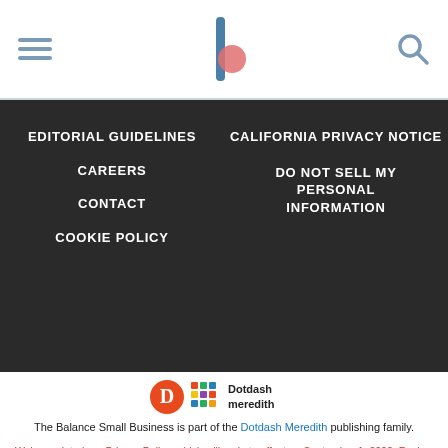The Balance Small Business header with hamburger menu, logo, and search icon
EDITORIAL GUIDELINES
CAREERS
CONTACT
COOKIE POLICY
CALIFORNIA PRIVACY NOTICE
DO NOT SELL MY PERSONAL INFORMATION
[Figure (logo): Dotdash Meredith logo with orange D circle and colorful grid icon]
The Balance Small Business is part of the Dotdash Meredith publishing family.
We've updated our Privacy Policy, which will go in to effect on September 1, 2022. Review our Privacy Policy